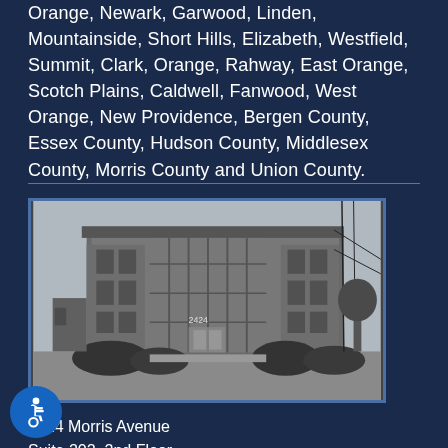Orange, Newark, Garwood, Linden, Mountainside, Short Hills, Elizabeth, Westfield, Summit, Clark, Orange, Rahway, East Orange, Scotch Plains, Caldwell, Fanwood, West Orange, New Providence, Bergen County, Essex County, Hudson County, Middlesex County, Morris County and Union County.
[Figure (photo): Black and white photograph of a multi-story brick office building at 2424 Morris Avenue, with shrubs in front and utility lines visible on the right side.]
2424 Morris Avenue
Suite 202, 2nd Floor
Union, NJ 07083